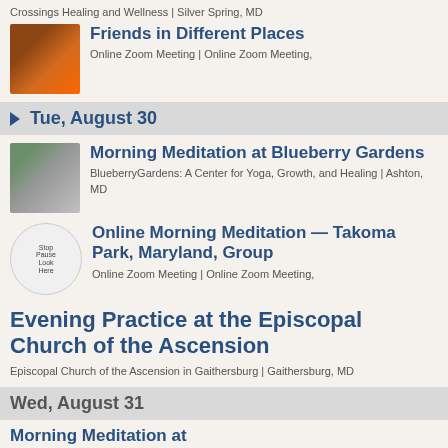Crossings Healing and Wellness | Silver Spring, MD
Friends in Different Places
Online Zoom Meeting | Online Zoom Meeting,
▶ Tue, August 30
Morning Meditation at Blueberry Gardens
BlueberryGardens: A Center for Yoga, Growth, and Healing | Ashton, MD
Online Morning Meditation — Takoma Park, Maryland, Group
Online Zoom Meeting | Online Zoom Meeting,
Evening Practice at the Episcopal Church of the Ascension
Episcopal Church of the Ascension in Gaithersburg | Gaithersburg, MD
Wed, August 31
Morning Meditation at